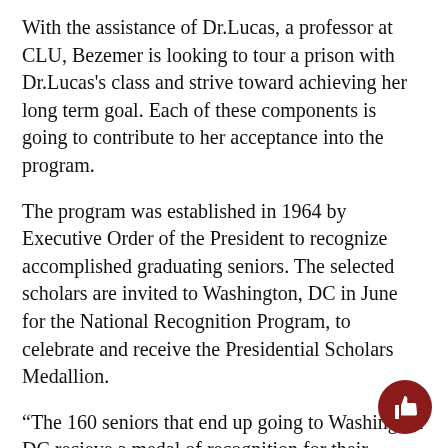With the assistance of Dr.Lucas, a professor at CLU, Bezemer is looking to tour a prison with Dr.Lucas's class and strive toward achieving her long term goal. Each of these components is going to contribute to her acceptance into the program.
The program was established in 1964 by Executive Order of the President to recognize accomplished graduating seniors. The selected scholars are invited to Washington, DC in June for the National Recognition Program, to celebrate and receive the Presidential Scholars Medallion.
“The 160 seniors that end up going to Washington DC recieve a medal of recognition for their achievements in a variety of different areas,” Bezemer said. “They go on the trip in June and receive their medallion at a White House sponsored ceremony.”
[Figure (illustration): Dark red circular thumbs-up button icon in the bottom-right corner]